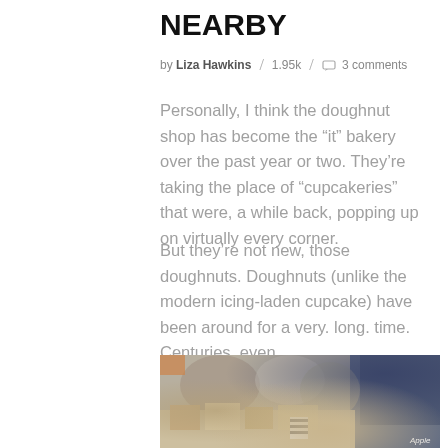NEARBY
by Liza Hawkins / 1.95k / 3 comments
Personally, I think the doughnut shop has become the “it” bakery over the past year or two. They’re taking the place of “cupcakeries” that were, a while back, popping up on virtually every corner.
But they’re not new, those doughnuts. Doughnuts (unlike the modern icing-laden cupcake) have been around for a very. long. time. Centuries, even.
[Figure (photo): Blurred outdoor market or bakery stall scene with baked goods displayed on a table, crowds in background, blue fabric visible, small Apple label in bottom right corner]